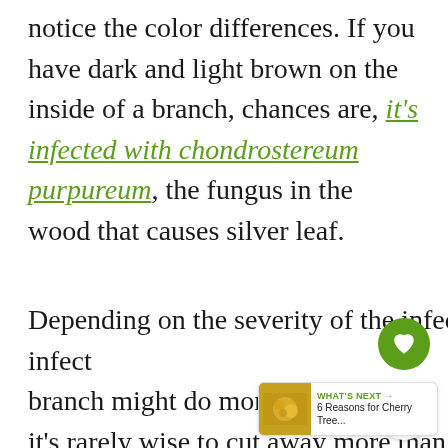notice the color differences. If you have dark and light brown on the inside of a branch, chances are, it's infected with chondrostereum purpureum, the fungus in the wood that causes silver leaf.
Depending on the severity of the infection, a hard pruning of every infected branch might do more harm than good — it's rarely wise to cut away more than a third of a tree's branches.